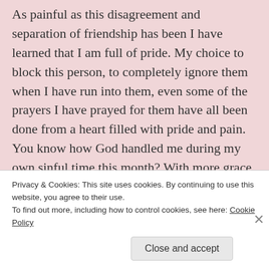As painful as this disagreement and separation of friendship has been I have learned that I am full of pride. My choice to block this person, to completely ignore them when I have run into them, even some of the prayers I have prayed for them have all been done from a heart filled with pride and pain.  You know how God handled me during my own sinful time this month?  With more grace and blessing than I could ever deserve. I've been a jerk and God has continued to lavish His love and provision over me and my family.  If the real Judge of the world chooses to love me in spite of my bratty behavior, why do I struggle with choosing to love others in spite of
Privacy & Cookies: This site uses cookies. By continuing to use this website, you agree to their use.
To find out more, including how to control cookies, see here: Cookie Policy
Close and accept